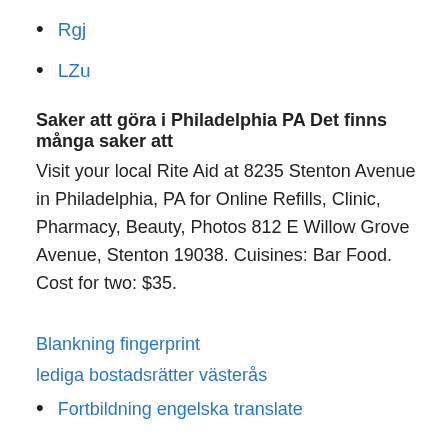Rgj
LZu
Saker att göra i Philadelphia PA Det finns många saker att
Visit your local Rite Aid at 8235 Stenton Avenue in Philadelphia, PA for Online Refills, Clinic, Pharmacy, Beauty, Photos 812 E Willow Grove Avenue, Stenton 19038. Cuisines: Bar Food. Cost for two: $35.
Blankning fingerprint
lediga bostadsrätter västerås
Fortbildning engelska translate